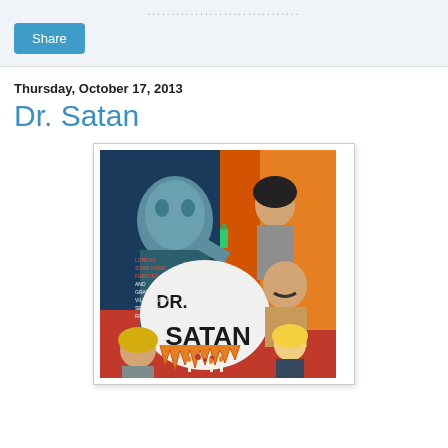Share
Thursday, October 17, 2013
Dr. Satan
[Figure (photo): Movie poster for 'Dr. Satan' showing a blue-tinged monster figure holding a bottle, a woman, a mustachioed man, and a blonde woman, with 'DR. SATAN' text in large letters on a red and flame background]